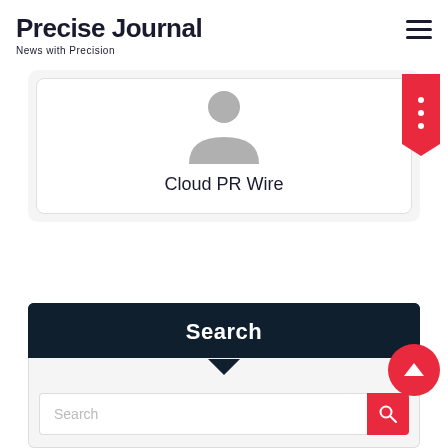Precise Journal
News with Precision
[Figure (illustration): Author profile card showing a generic avatar silhouette and the text 'Cloud PR Wire' below it, with a red bookmark ribbon on the right side]
Cloud PR Wire
Search
[Figure (screenshot): Search input box with placeholder text 'Search' and a red search button with magnifier icon, plus a red scroll-to-top circular button]